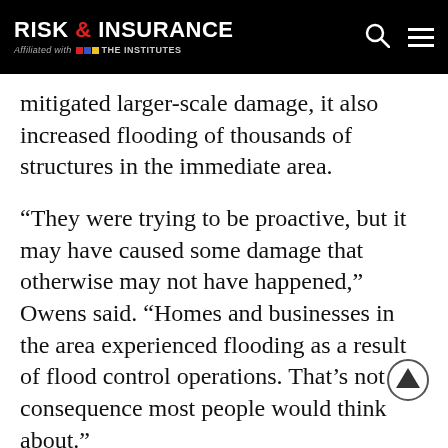RISK & INSURANCE — Affiliated with THE INSTITUTES
mitigated larger-scale damage, it also increased flooding of thousands of structures in the immediate area.
“They were trying to be proactive, but it may have caused some damage that otherwise may not have happened,” Owens said. “Homes and businesses in the area experienced flooding as a result of flood control operations. That’s not a consequence most people would think about.”
“If you’re located downstream from a flood control project, how might that impact